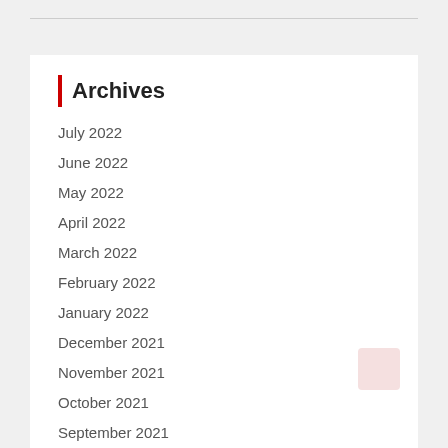Archives
July 2022
June 2022
May 2022
April 2022
March 2022
February 2022
January 2022
December 2021
November 2021
October 2021
September 2021
August 2021
July 2021
June 2021